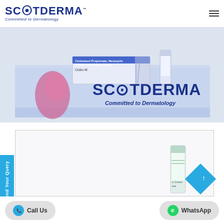[Figure (logo): Scotderma logo with 'Committed to Dermatology' tagline and hamburger menu icon]
[Figure (photo): Scotderma branded display table with Clobetasol Propionate, Neomycin & Miconazole Nitrate Cream (Clobo-M) product box and tube, Scotderma logo banner behind]
[Figure (photo): Scotderma product page second section showing a cream tube product, with Send Your Query side tab, scroll-to-top diamond button]
Send Your Query
Call Us
WhatsApp